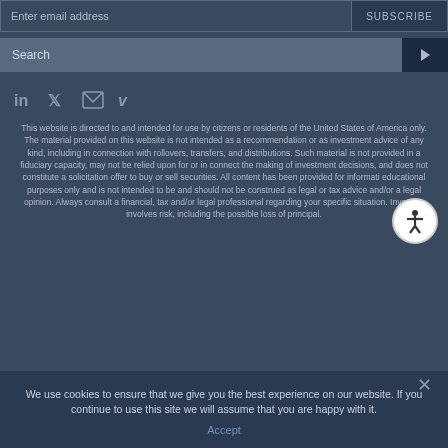Enter email address | SUBSCRIBE
Search
[Figure (other): Social media icons: LinkedIn, Twitter, Email, Vimeo]
This website is directed to and intended for use by citizens or residents of the United States of America only. The material provided on this website is not intended as a recommendation or as investment advice of any kind, including in connection with rollovers, transfers, and distributions. Such material is not provided in a fiduciary capacity, may not be relied upon for or in connect the making of investment decisions, and does not constitute a solicitation offer to buy or sell securities. All content has been provided for information educational purposes only and is not intended to be and should not be construed as legal or tax advice and/or a legal opinion. Always consult a financial, tax and/or legal professional regarding your specific situation. Investing involves risk, including the possible loss of principal.
We use cookies to ensure that we give you the best experience on our website. If you continue to use this site we will assume that you are happy with it.
Accept